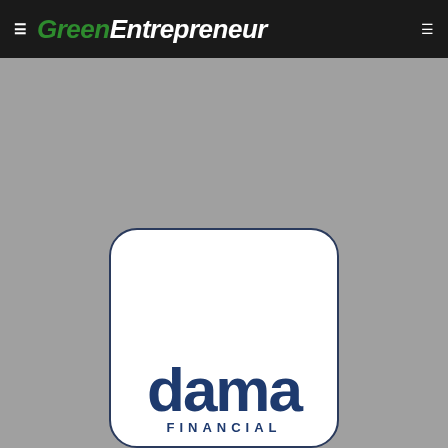GreenEntrepreneur
[Figure (logo): Dama Financial logo — white rounded rectangle card with dark navy border showing 'dama' in large bold navy text and 'FINANCIAL' in spaced navy capital letters below]